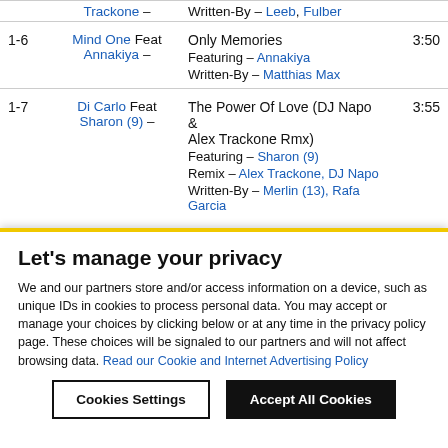| # | Artist | Title | Time |
| --- | --- | --- | --- |
|  | Trackone – | Written-By – Leeb, Fulber |  |
| 1-6 | Mind One Feat Annakiya – | Only Memories
Featuring – Annakiya
Written-By – Matthias Max | 3:50 |
| 1-7 | Di Carlo Feat Sharon (9) – | The Power Of Love (DJ Napo & Alex Trackone Rmx)
Featuring – Sharon (9)
Remix – Alex Trackone, DJ Napo
Written-By – Merlin (13), Rafa Garcia | 3:55 |
Let's manage your privacy
We and our partners store and/or access information on a device, such as unique IDs in cookies to process personal data. You may accept or manage your choices by clicking below or at any time in the privacy policy page. These choices will be signaled to our partners and will not affect browsing data. Read our Cookie and Internet Advertising Policy
Cookies Settings | Accept All Cookies